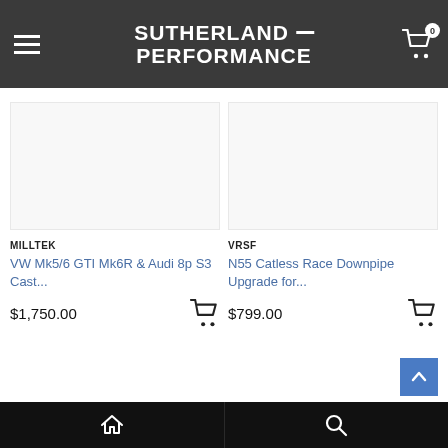SUTHERLAND PERFORMANCE
MILLTEK
VW Mk5/6 GTI Mk6R & Audi 8p S3 Cast... $1,750.00
VRSF
N55 Catless Race Downpipe Upgrade for... $799.00
Home | Search